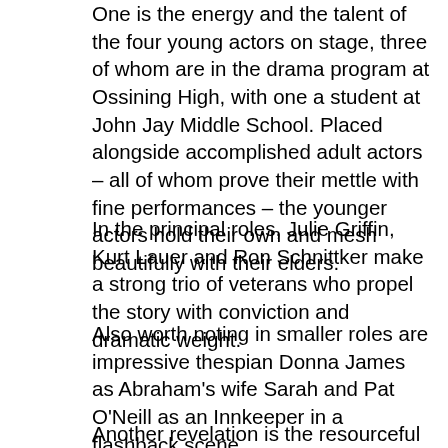One is the energy and the talent of the four young actors on stage, three of whom are in the drama program at Ossining High, with one a student at John Jay Middle School. Placed alongside accomplished adult actors – all of whom prove their mettle with fine performances – the younger actors hold their own and mesh beautifully with their elders.
In the principal roles, Julie Griffin, Kurt Lauer and Ron Schnittker make a strong trio of veterans who propel the story with conviction and dramatic weight.
Also worth noting in smaller roles are impressive thespian Donna James as Abraham's wife Sarah and Pat O'Neill as an Innkeeper in a flashback scene.
Another revelation is the resourceful use of